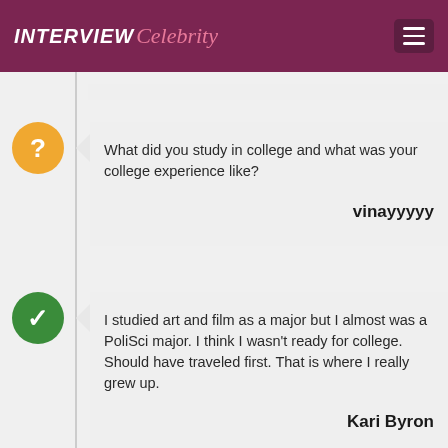INTERVIEW Celebrity
What did you study in college and what was your college experience like?
vinayyyyy
I studied art and film as a major but I almost was a PoliSci major. I think I wasn't ready for college. Should have traveled first. That is where I really grew up.
Kari Byron
What's the most complicated thing you've ever